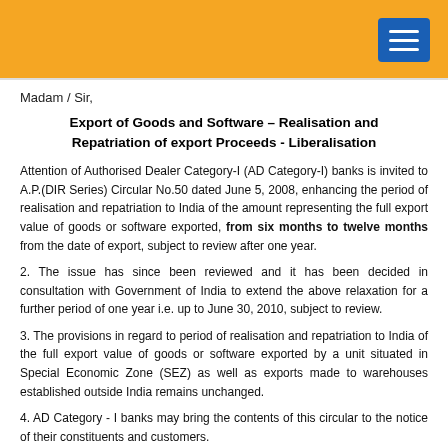Madam / Sir,
Export of Goods and Software – Realisation and Repatriation of export Proceeds - Liberalisation
Attention of Authorised Dealer Category-I (AD Category-I) banks is invited to A.P.(DIR Series) Circular No.50 dated June 5, 2008, enhancing the period of realisation and repatriation to India of the amount representing the full export value of goods or software exported, from six months to twelve months from the date of export, subject to review after one year.
2. The issue has since been reviewed and it has been decided in consultation with Government of India to extend the above relaxation for a further period of one year i.e. up to June 30, 2010, subject to review.
3. The provisions in regard to period of realisation and repatriation to India of the full export value of goods or software exported by a unit situated in Special Economic Zone (SEZ) as well as exports made to warehouses established outside India remains unchanged.
4. AD Category - I banks may bring the contents of this circular to the notice of their constituents and customers.